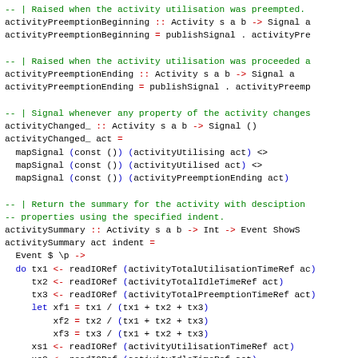-- | Raised when the activity utilisation was preempted.
activityPreemptionBeginning :: Activity s a b -> Signal a
activityPreemptionBeginning = publishSignal . activityPre

-- | Raised when the activity utilisation was proceeded a
activityPreemptionEnding :: Activity s a b -> Signal a
activityPreemptionEnding = publishSignal . activityPreemp

-- | Signal whenever any property of the activity changes
activityChanged_ :: Activity s a b -> Signal ()
activityChanged_ act =
  mapSignal (const ()) (activityUtilising act) <>
  mapSignal (const ()) (activityUtilised act) <>
  mapSignal (const ()) (activityPreemptionEnding act)

-- | Return the summary for the activity with desciption
-- properties using the specified indent.
activitySummary :: Activity s a b -> Int -> Event ShowS
activitySummary act indent =
  Event $ \p ->
  do tx1 <- readIORef (activityTotalUtilisationTimeRef ac
     tx2 <- readIORef (activityTotalIdleTimeRef act)
     tx3 <- readIORef (activityTotalPreemptionTimeRef ac
     let xf1 = tx1 / (tx1 + tx2 + tx3)
         xf2 = tx2 / (tx1 + tx2 + tx3)
         xf3 = tx3 / (tx1 + tx2 + tx3)
     xs1 <- readIORef (activityUtilisationTimeRef act)
     xs2 <- readIORef (activityIdleTimeRef act)
     xs3 <- readIORef (activityPreemptionTimeRef act)